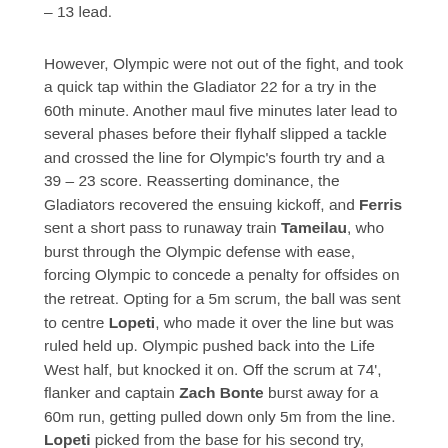– 13 lead.
However, Olympic were not out of the fight, and took a quick tap within the Gladiator 22 for a try in the 60th minute. Another maul five minutes later lead to several phases before their flyhalf slipped a tackle and crossed the line for Olympic's fourth try and a 39 – 23 score. Reasserting dominance, the Gladiators recovered the ensuing kickoff, and Ferris sent a short pass to runaway train Tameilau, who burst through the Olympic defense with ease, forcing Olympic to concede a penalty for offsides on the retreat. Opting for a 5m scrum, the ball was sent to centre Lopeti, who made it over the line but was ruled held up. Olympic pushed back into the Life West half, but knocked it on. Off the scrum at 74', flanker and captain Zach Bonte burst away for a 60m run, getting pulled down only 5m from the line. Lopeti picked from the base for his second try, putting the Gladiators further ahead at 46 – 23. Again off the kickoff, the